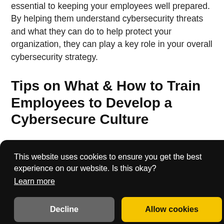essential to keeping your employees well prepared. By helping them understand cybersecurity threats and what they can do to help protect your organization, they can play a key role in your overall cybersecurity strategy.
Tips on What & How to Train Employees to Develop a Cybersecure Culture
[Figure (screenshot): Cookie consent banner overlay with dark background. Text reads: 'This website uses cookies to ensure you get the best experience on our website. Is this okay?' with a 'Learn more' underlined link, and two buttons: 'Decline' (grey) and 'Allow cookies' (yellow). A reCAPTCHA badge is visible at bottom right.]
lack of good security practices, according to the 2021